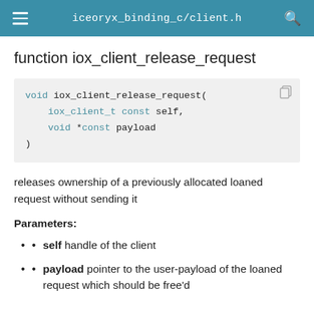iceoryx_binding_c/client.h
function iox_client_release_request
[Figure (screenshot): Code block showing: void iox_client_release_request(
    iox_client_t const self,
    void *const payload
)]
releases ownership of a previously allocated loaned request without sending it
Parameters:
self handle of the client
payload pointer to the user-payload of the loaned request which should be free'd